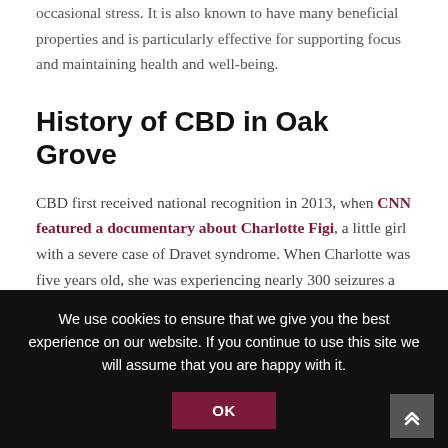occasional stress. It is also known to have many beneficial properties and is particularly effective for supporting focus and maintaining health and well-being.
History of CBD in Oak Grove
CBD first received national recognition in 2013, when CNN featured a documentary about Charlotte Figi, a little girl with a severe case of Dravet syndrome. When Charlotte was five years old, she was experiencing nearly 300 seizures a week and no treatments seemed to help control her seizures. Absolutely devastated
We use cookies to ensure that we give you the best experience on our website. If you continue to use this site we will assume that you are happy with it. OK